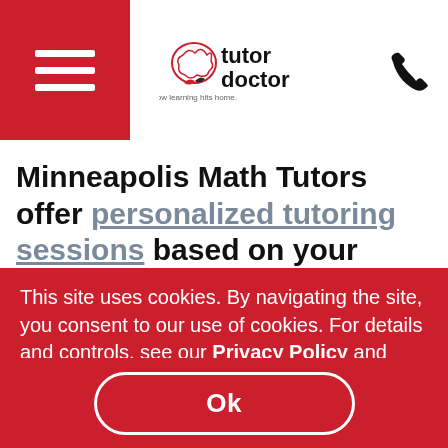Tutor Doctor — How learning hits home.
Minneapolis Math Tutors offer personalized tutoring sessions based on your child's needs. We understand that it can be confusing and frustrating when it comes to finding the right...
This site uses cookies. By navigating the site, you consent to our use of cookies. For details and controls, see our Privacy Policy and Cookie Policy.
Ok